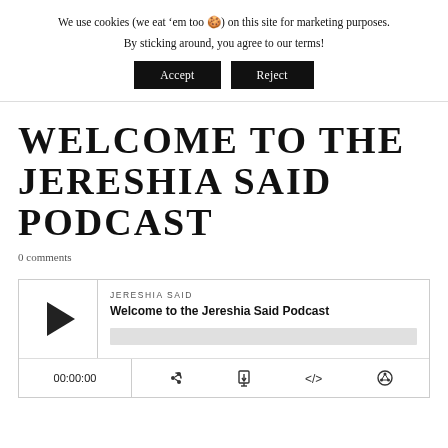We use cookies (we eat ‘em too 🍪) on this site for marketing purposes. By sticking around, you agree to our terms!
Accept | Reject
WELCOME TO THE JERESHIA SAID PODCAST
0 comments
[Figure (other): Podcast player widget for 'Welcome to the Jereshia Said Podcast' by JERESHIA SAID. Shows a play button, progress bar, time display (00:00:00), and media controls including RSS, download, embed, and share icons.]